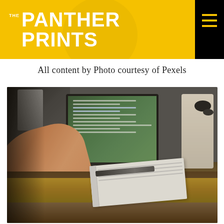THE PANTHER PRINTS
All content by Photo courtesy of Pexels
[Figure (photo): Person sitting at a desk with a laptop computer open showing a document, with a notebook and pen on the desk beside the laptop.]